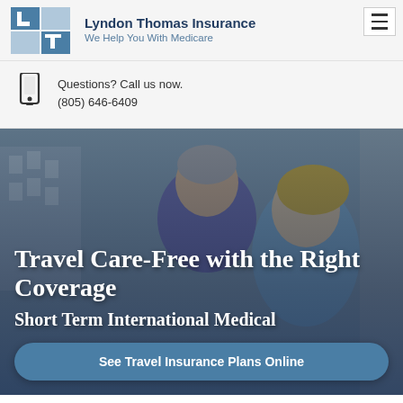[Figure (logo): Lyndon Thomas Insurance LTI logo — stylized blue L and T letters in a square grid]
Lyndon Thomas Insurance
We Help You With Medicare
Questions? Call us now.
(805) 646-6409
[Figure (photo): Middle-aged couple smiling and looking at a camera together, outdoors with blurred urban background]
Travel Care-Free with the Right Coverage
Short Term International Medical
See Travel Insurance Plans Online